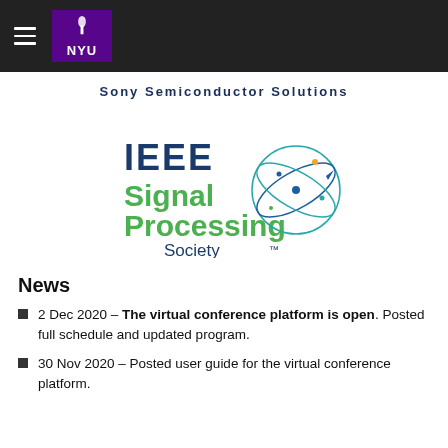NYU navigation bar with hamburger menu and NYU logo
Sony Semiconductor Solutions
[Figure (logo): IEEE Signal Processing Society logo with globe graphic and green/blue text]
News
2 Dec 2020 - The virtual conference platform is open. Posted full schedule and updated program.
30 Nov 2020 - Posted user guide for the virtual conference platform.